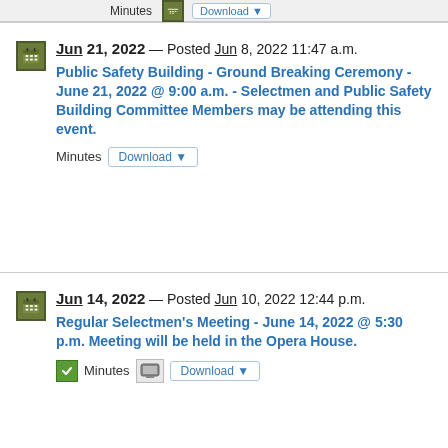Minutes  Download ▼
Jun 21, 2022 — Posted Jun 8, 2022 11:47 a.m.
Public Safety Building - Ground Breaking Ceremony - June 21, 2022 @ 9:00 a.m. - Selectmen and Public Safety Building Committee Members may be attending this event.
Minutes  Download ▼
Jun 14, 2022 — Posted Jun 10, 2022 12:44 p.m.
Regular Selectmen's Meeting - June 14, 2022 @ 5:30 p.m. Meeting will be held in the Opera House.
Minutes  Download ▼